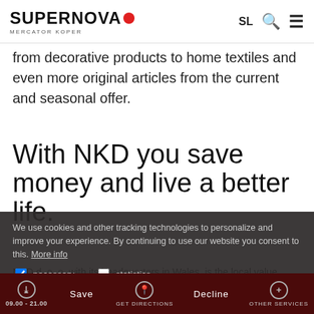SUPERNOVA MERCATOR KOPER — SL [search] [menu]
from decorative products to home textiles and even more original articles from the current and seasonal offer.
With NKD you save money and live a better life.
NKD d. o. o. with its headquarters in Wales, is the local value retailer which was founded in 1995. NKD offers its customers a wide range of current seasonal fashion products for the whole family, as well as
We use cookies and other tracking technologies to personalize and improve your experience. By continuing to use our website you consent to this. More info
necessary   statistics
ALLOW ALL
09.00 - 21.00   Save   GET DIRECTIONS   Decline   OTHER SERVICES